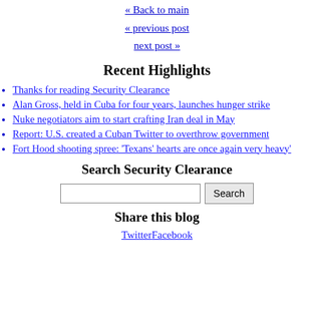« Back to main
« previous post
next post »
Recent Highlights
Thanks for reading Security Clearance
Alan Gross, held in Cuba for four years, launches hunger strike
Nuke negotiators aim to start crafting Iran deal in May
Report: U.S. created a Cuban Twitter to overthrow government
Fort Hood shooting spree: 'Texans' hearts are once again very heavy'
Search Security Clearance
[Figure (other): Search input box with Search button]
Share this blog
TwitterFacebook